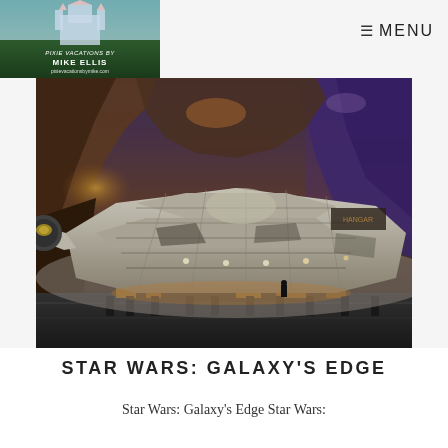[Figure (logo): Pixie Vacations by Mike Ellis logo — castle graphic on green background with website pixievacationsbymike.com]
≡ MENU
[Figure (photo): Photograph of the Millennium Falcon spaceship at Star Wars: Galaxy's Edge theme park attraction, with rocky canyon walls lit with warm amber and blue lighting in the background]
STAR WARS: GALAXY'S EDGE
Star Wars: Galaxy's Edge Star Wars: